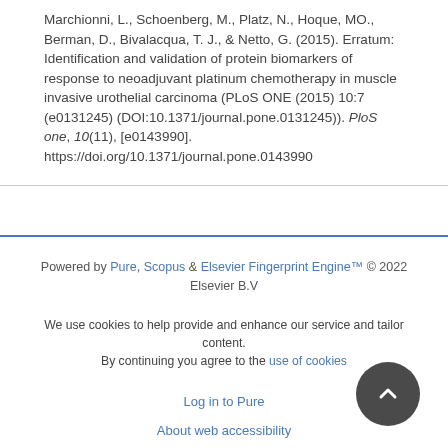Marchionni, L., Schoenberg, M., Platz, N., Hoque, MO., Berman, D., Bivalacqua, T. J., & Netto, G. (2015). Erratum: Identification and validation of protein biomarkers of response to neoadjuvant platinum chemotherapy in muscle invasive urothelial carcinoma (PLoS ONE (2015) 10:7 (e0131245) (DOI:10.1371/journal.pone.0131245)). PLoS one, 10(11), [e0143990]. https://doi.org/10.1371/journal.pone.0143990
Powered by Pure, Scopus & Elsevier Fingerprint Engine™ © 2022 Elsevier B.V
We use cookies to help provide and enhance our service and tailor content. By continuing you agree to the use of cookies
Log in to Pure
About web accessibility